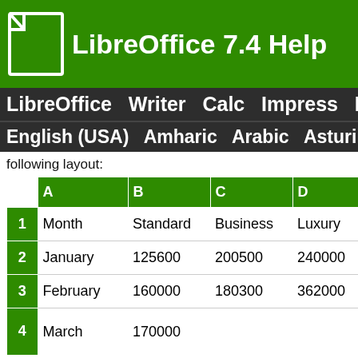LibreOffice 7.4 Help
LibreOffice  Writer  Calc  Impress  Draw
English (USA)  Amharic  Arabic  Asturian
following layout:
|  | A | B | C | D | E |
| --- | --- | --- | --- | --- | --- |
| 1 | Month | Standard | Business | Luxury | Suite |
| 2 | January | 125600 | 200500 | 240000 | 1700... |
| 3 | February | 160000 | 180300 | 362000 | 2200... |
| 4 | March | 170000 |  |  | and so on... |